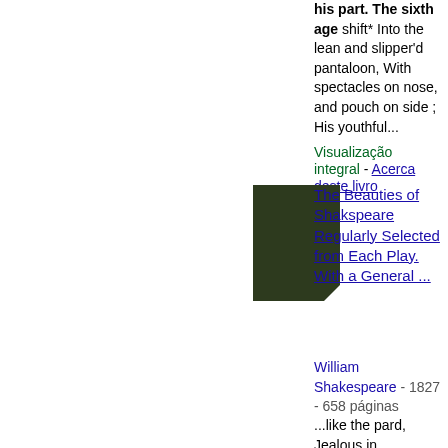his part. The sixth age shift* Into the lean and slipper'd pantaloon, With spectacles on nose, and pouch on side ; His youthful...
Visualização integral - Acerca deste livro
[Figure (illustration): Dark green book cover thumbnail]
The Beauties of Shakspeare Regularly Selected from Each Play. With a General ...
William Shakespeare - 1827 - 658 páginas
...like the pard, Jealous in